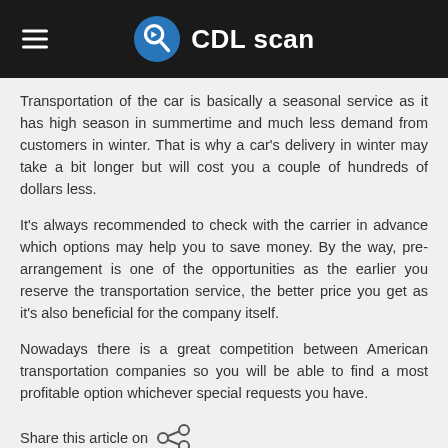CDL scan
Transportation of the car is basically a seasonal service as it has high season in summertime and much less demand from customers in winter. That is why a car's delivery in winter may take a bit longer but will cost you a couple of hundreds of dollars less.
It's always recommended to check with the carrier in advance which options may help you to save money. By the way, pre-arrangement is one of the opportunities as the earlier you reserve the transportation service, the better price you get as it's also beneficial for the company itself.
Nowadays there is a great competition between American transportation companies so you will be able to find a most profitable option whichever special requests you have.
Share this article on